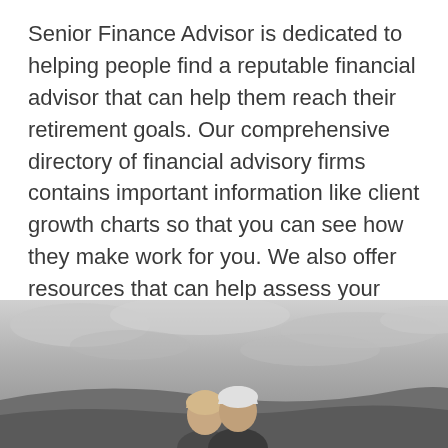Senior Finance Advisor is dedicated to helping people find a reputable financial advisor that can help them reach their retirement goals. Our comprehensive directory of financial advisory firms contains important information like client growth charts so that you can see how they make work for you. We also offer resources that can help assess your financial goals, strategize your investment portfolio, and plan for retirement.
[Figure (photo): Two elderly people (a couple) photographed from behind against a dramatic grey cloudy sky and landscape, shown from the shoulders up at the bottom center of the image.]